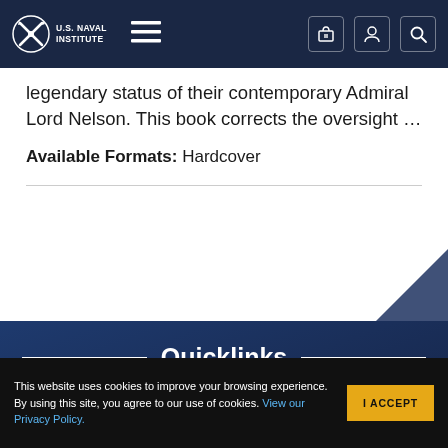U.S. Naval Institute
legendary status of their contemporary Admiral Lord Nelson. This book corrects the oversight …
Available Formats: Hardcover
Quicklinks
About the Naval Institute
This website uses cookies to improve your browsing experience. By using this site, you agree to our use of cookies. View our Privacy Policy.